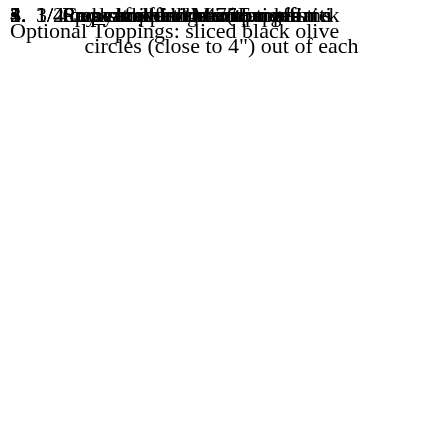1/2 cup refried beans (optiona...
1/4 cup chopped green peppe...
3/4 cup shredded Mexican ble...
Optional Toppings: sliced black olive...
1. Preheat oven to 475F.
2. Spray muffin tin with non-stick...
3. Lay each tortilla out on a flat s... circles (close to 4") out of each...
4. Press each circle into muffin ti...
5. Cook and drain hamburger me...
6. Add taco seasoning and wate... package).
7. Add salsa and re-fried beans a...
8. Scoop meat mixture into muffi...
9. Top with shredded cheese.